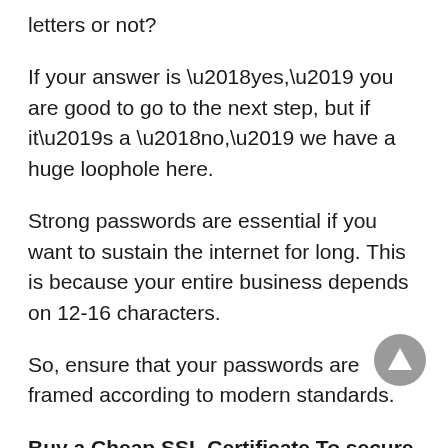letters or not?
If your answer is ‘yes,’ you are good to go to the next step, but if it’s a ‘no,’ we have a huge loophole here.
Strong passwords are essential if you want to sustain the internet for long. This is because your entire business depends on 12-16 characters.
So, ensure that your passwords are framed according to modern standards.
Buy a Cheap SSL Certificate To secure your